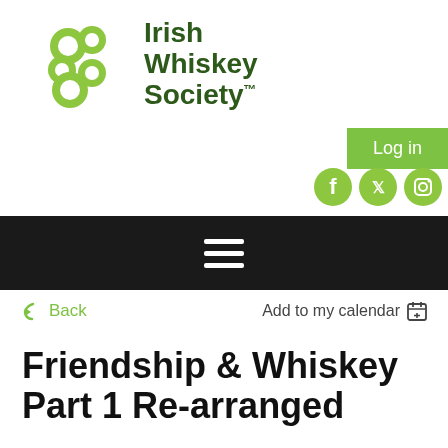[Figure (logo): Irish Whiskey Society logo with green bubble/circle motif and green text]
Log in
[Figure (infographic): Social media icons: Facebook, Twitter, Instagram in green circles]
[Figure (infographic): Black navigation bar with hamburger menu icon (three horizontal lines)]
Back
Add to my calendar
Friendship & Whiskey Part 1 Re-arranged